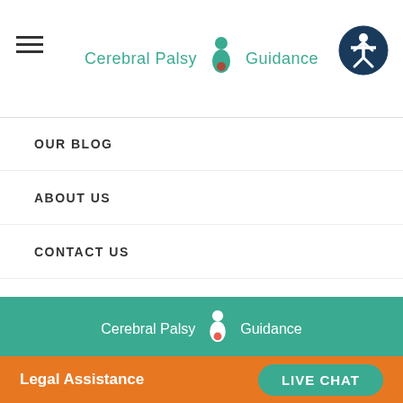Cerebral Palsy Guidance
OUR BLOG
ABOUT US
CONTACT US
[Figure (logo): Cerebral Palsy Guidance logo with person icon, white text on teal background]
210 W. Division St. Syracuse, NY 13204
We provide nationwide assistance
This site complies with the HONcode standard for trustworthy health information: verify here.
Legal Assistance   LIVE CHAT